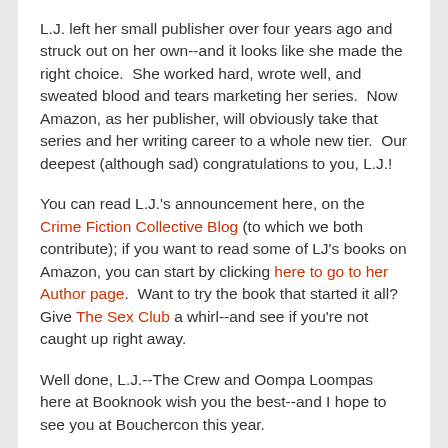L.J. left her small publisher over four years ago and struck out on her own--and it looks like she made the right choice.  She worked hard, wrote well, and sweated blood and tears marketing her series.  Now Amazon, as her publisher, will obviously take that series and her writing career to a whole new tier.  Our deepest (although sad) congratulations to you, L.J.!
You can read L.J.'s announcement here, on the Crime Fiction Collective Blog (to which we both contribute); if you want to read some of LJ's books on Amazon, you can start by clicking here to go to her Author page.  Want to try the book that started it all?  Give The Sex Club a whirl--and see if you're not caught up right away.
Well done, L.J.--The Crew and Oompa Loompas here at Booknook wish you the best--and I hope to see you at Bouchercon this year.